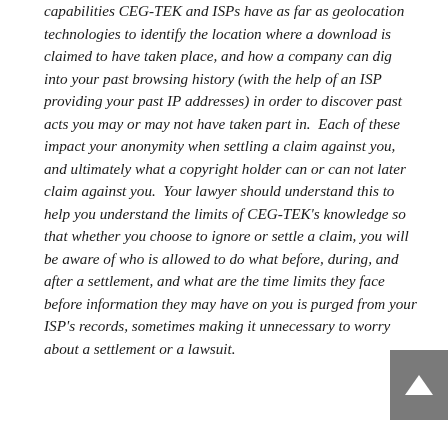capabilities CEG-TEK and ISPs have as far as geolocation technologies to identify the location where a download is claimed to have taken place, and how a company can dig into your past browsing history (with the help of an ISP providing your past IP addresses) in order to discover past acts you may or may not have taken part in.  Each of these impact your anonymity when settling a claim against you, and ultimately what a copyright holder can or can not later claim against you.  Your lawyer should understand this to help you understand the limits of CEG-TEK's knowledge so that whether you choose to ignore or settle a claim, you will be aware of who is allowed to do what before, during, and after a settlement, and what are the time limits they face before information they may have on you is purged from your ISP's records, sometimes making it unnecessary to worry about a settlement or a lawsuit.